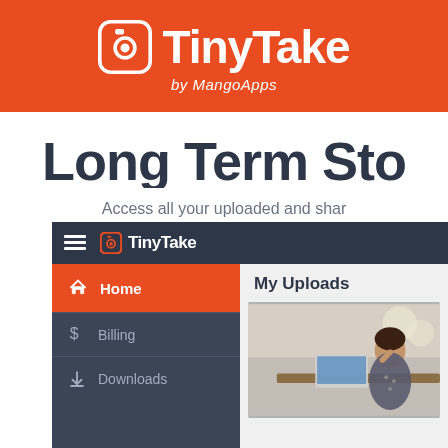[Figure (logo): TinyTake by MangoApps logo on orange/red background header bar]
Long Term Sto
Access all your uploaded and shar
[Figure (screenshot): TinyTake app interface screenshot showing sidebar with Home (active), Billing, Downloads menu items and My Uploads content area with a photo of a woman at a desk with a laptop]